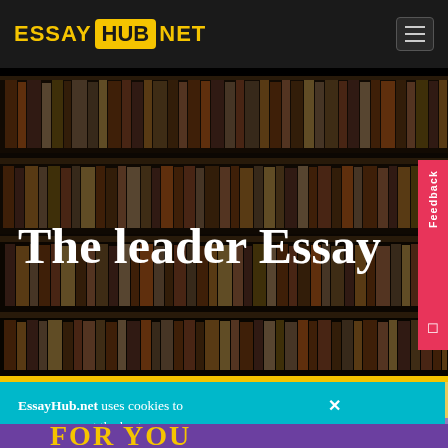ESSAY HUB NET
The leader Essay
Home › Essays › The leader
EssayHub.net uses cookies to ensure you get the best experience on our website